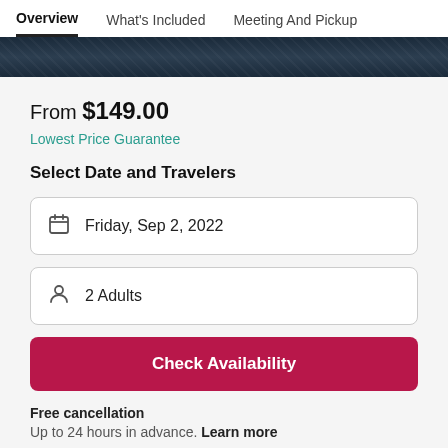Overview | What's Included | Meeting And Pickup
[Figure (photo): Dark blue textured water/ocean hero image strip]
From $149.00
Lowest Price Guarantee
Select Date and Travelers
Friday, Sep 2, 2022
2 Adults
Check Availability
Free cancellation
Up to 24 hours in advance. Learn more